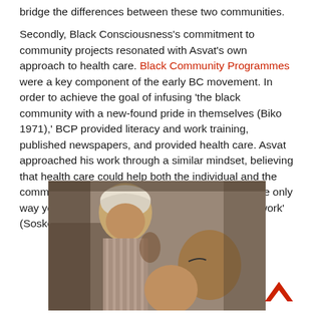bridge the differences between these two communities.

Secondly, Black Consciousness's commitment to community projects resonated with Asvat's own approach to health care. Black Community Programmes were a key component of the early BC movement. In order to achieve the goal of infusing 'the black community with a new-found pride in themselves (Biko 1971),' BCP provided literacy and work training, published newspapers, and provided health care. Asvat approached his work through a similar mindset, believing that health care could help both the individual and the community. As he once told Sadecque Veriava, 'The only way you can communicate with people is through work' (Soske, 2011).
[Figure (photo): Black and white photograph showing a person in a white headscarf speaking with two other people, appearing to be in a health care or community consultation setting.]